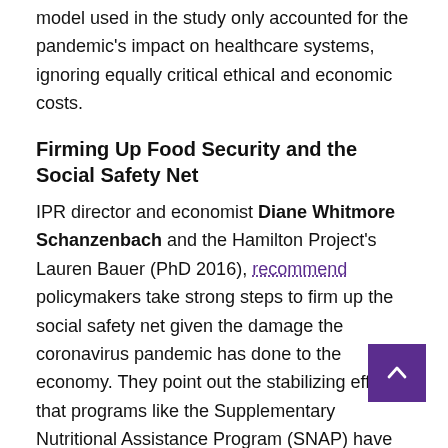model used in the study only accounted for the pandemic's impact on healthcare systems, ignoring equally critical ethical and economic costs.
Firming Up Food Security and the Social Safety Net
IPR director and economist Diane Whitmore Schanzenbach and the Hamilton Project's Lauren Bauer (PhD 2016), recommend policymakers take strong steps to firm up the social safety net given the damage the coronavirus pandemic has done to the economy. They point out the stabilizing effects that programs like the Supplementary Nutritional Assistance Program (SNAP) have not just on families, but on the economy as they increase collective demand for goods.
Easing Access to the Safety Net
The expansion of social insurance programs through the